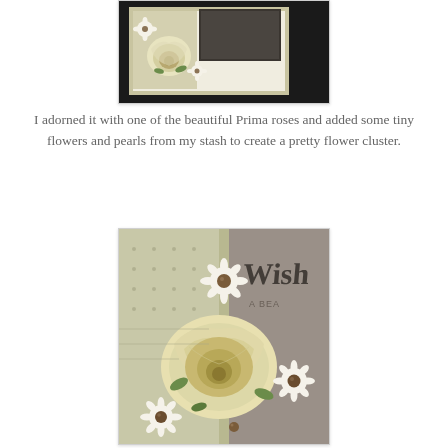[Figure (photo): Close-up photo of a handmade greeting card showing cream/ivory Prima rose flowers, small white daisy-like flowers with pearl centers, green leaf accents, on a beige/olive card background with a dark rectangular inset at the top right.]
I adorned it with one of the beautiful Prima roses and added some tiny flowers and pearls from my stash to create a pretty flower cluster.
[Figure (photo): Close-up macro photo of flower cluster on a handmade card: a large cream/gold Prima rose in the center, surrounded by small white daisy flowers with bronze/brown pearl centers, green leaf accents, on an olive/sage green dotted card background. Partially visible cursive text 'Wish' and stamped text 'A BEA...' visible on the upper right.]